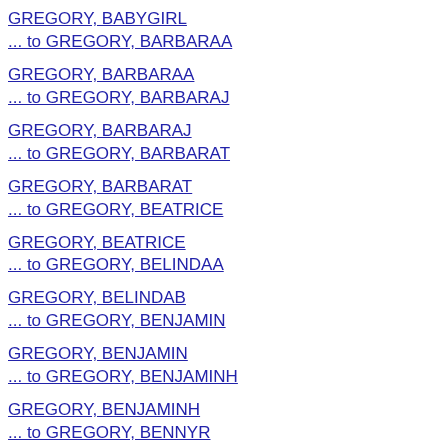GREGORY, BABYGIRL
... to GREGORY, BARBARAA
GREGORY, BARBARAA
... to GREGORY, BARBARAJ
GREGORY, BARBARAJ
... to GREGORY, BARBARAT
GREGORY, BARBARAT
... to GREGORY, BEATRICE
GREGORY, BEATRICE
... to GREGORY, BELINDAA
GREGORY, BELINDAB
... to GREGORY, BENJAMIN
GREGORY, BENJAMIN
... to GREGORY, BENJAMINH
GREGORY, BENJAMINH
... to GREGORY, BENNYR
GREGORY, BENNYR
... to GREGORY, BERNICE